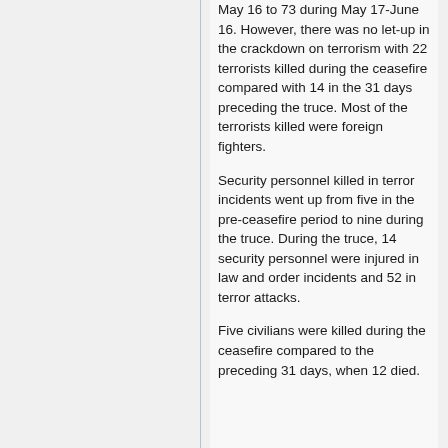May 16 to 73 during May 17-June 16. However, there was no let-up in the crackdown on terrorism with 22 terrorists killed during the ceasefire compared with 14 in the 31 days preceding the truce. Most of the terrorists killed were foreign fighters.
Security personnel killed in terror incidents went up from five in the pre-ceasefire period to nine during the truce. During the truce, 14 security personnel were injured in law and order incidents and 52 in terror attacks.
Five civilians were killed during the ceasefire compared to the preceding 31 days, when 12 died.